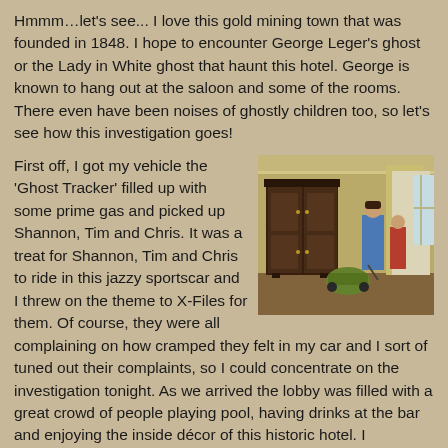Hmmm…let's see... I love this gold mining town that was founded in 1848. I hope to encounter George Leger's ghost or the Lady in White ghost that haunt this hotel. George is known to hang out at the saloon and some of the rooms. There even have been noises of ghostly children too, so let's see how this investigation goes!
First off, I got my vehicle the 'Ghost Tracker' filled up with some prime gas and picked up Shannon, Tim and Chris. It was a treat for Shannon, Tim and Chris to ride in this jazzy sportscar and I threw on the theme to X-Files for them. Of course, they were all complaining on how cramped they felt in my car and I sort of tuned out their complaints, so I could concentrate on the investigation tonight. As we arrived the lobby was filled with a great crowd of people playing pool, having drinks at the bar and enjoying the inside décor of this historic hotel. I introduced myself to the lovely bartender named Jennifer Sanders-Metzger, she has been working at this hotel for 3 years. Clairvoyance runs in her family and she is a clairvoyant herself. So the first thing she did was introduce herself to the entities of this hotel.
[Figure (photo): Interior room of a historic hotel showing a large dark wood armoire/wardrobe against a tan/beige wall, with two people standing near a doorway on the right side of the image.]
The entities have already come to with we are in this...